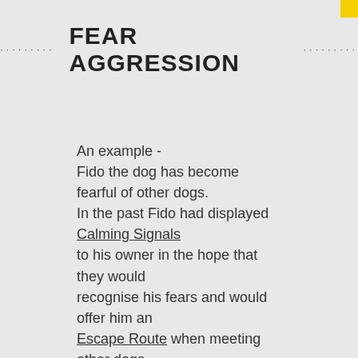FEAR AGGRESSION
An example -
Fido the dog has become fearful of other dogs. In the past Fido had displayed Calming Signals to his owner in the hope that they would recognise his fears and would offer him an Escape Route when meeting other dogs. Unfortunately the owner did not understand Fido's body language and continued to walk towards "strange" dogs that he was worried about.
Fido felt trapped and unable to cope, and soon lost confidence and trust with his owner as they consistently ignored his Calming Signals and expected him to cope with similar circumstances